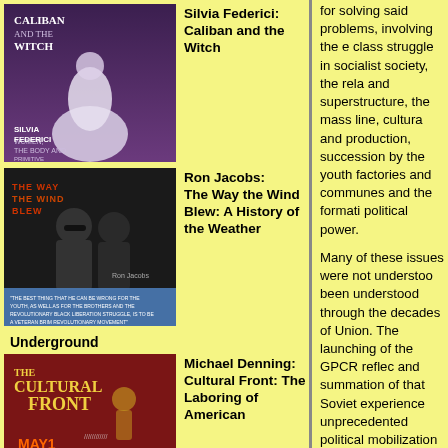[Figure (illustration): Book cover: Caliban and the Witch by Silvia Federici. Dark purple/maroon cover with a figure in white dress.]
Silvia Federici: Caliban and the Witch
[Figure (illustration): Book cover: The Way the Wind Blew by Ron Jacobs. Dark cover with two people and orange/red text.]
Ron Jacobs: The Way the Wind Blew: A History of the Weather
Underground
[Figure (illustration): Book cover: Cultural Front by Michael Denning. Red/maroon cover with decorative text and figures.]
Michael Denning: Cultural Front: The Laboring of American
for solving said problems, involving the e class struggle in socialist society, the rela and superstructure, the mass line, cultura and production, succession by the youth factories and communes and the formati political power.

Many of these issues were not understoo been understood through the decades of Union. The launching of the GPCR reflec and summation of that Soviet experience unprecedented political mobilization of th revisionism, this time in the CPC.

Comrade Mao successfully led the Chine people from victory to victory in the Grea Revolution against tremendous odds and adversaries. But soon after his death, the Chinese proletariat and people made a d proletarian revolutionary line in carrying o and construction. Since then the new bo have launched the most brutal attacks ag workers and peasants. While they have o title of the "Communist Party of China", t